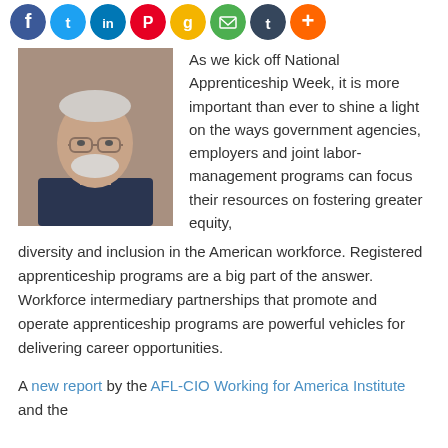[Figure (other): Row of social media sharing icons (Facebook, Twitter, LinkedIn, Pinterest, Google, Email, Tumblr, Add) shown as colored circles]
[Figure (photo): Headshot photo of an older white man with glasses and a white beard, wearing a dark shirt, against a textured background]
As we kick off National Apprenticeship Week, it is more important than ever to shine a light on the ways government agencies, employers and joint labor-management programs can focus their resources on fostering greater equity, diversity and inclusion in the American workforce. Registered apprenticeship programs are a big part of the answer. Workforce intermediary partnerships that promote and operate apprenticeship programs are powerful vehicles for delivering career opportunities.
A new report by the AFL-CIO Working for America Institute and the